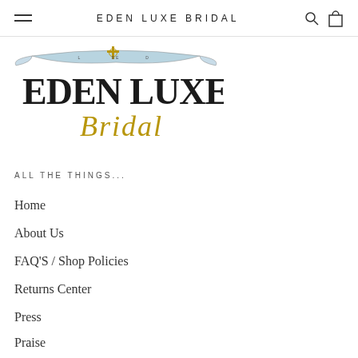EDEN LUXE BRIDAL
[Figure (logo): Eden Luxe Bridal ornate logo with decorative banner and cross motif, featuring large serif text 'EDEN LUXE' and italic script 'Bridal' below in gold and dark ink]
ALL THE THINGS...
Home
About Us
FAQ'S / Shop Policies
Returns Center
Press
Praise